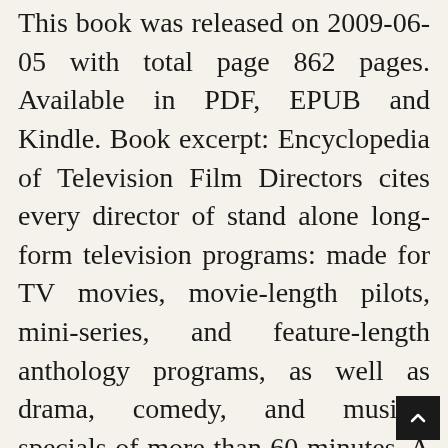This book was released on 2009-06-05 with total page 862 pages. Available in PDF, EPUB and Kindle. Book excerpt: Encyclopedia of Television Film Directors cites every director of stand alone long-form television programs: made for TV movies, movie-length pilots, mini-series, and feature-length anthology programs, as well as drama, comedy, and musical specials of more than 60 minutes. A much-needed reference that celebrates these often-neglected artists, Encyclopedia of Television Film Directors is an indispensable resource for any interested in the history of the medium.